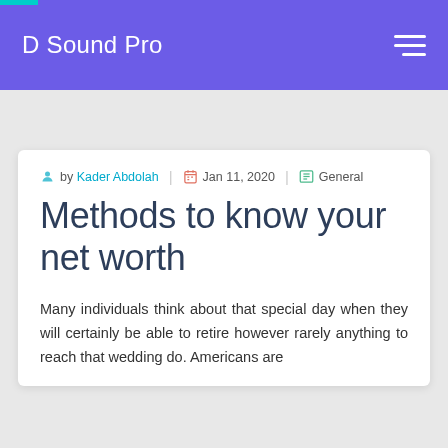D Sound Pro
by Kader Abdolah | Jan 11, 2020 | General
Methods to know your net worth
Many individuals think about that special day when they will certainly be able to retire however rarely anything to reach that wedding do. Americans are